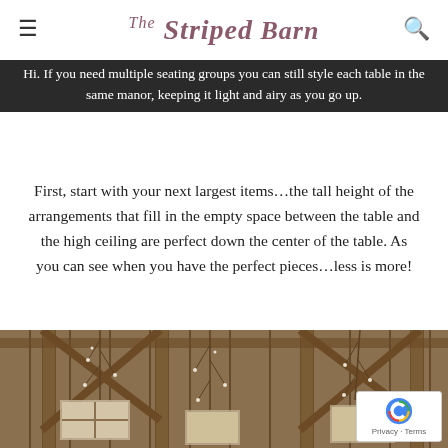The Striped Barn
Hi. If you need multiple seating groups you can still style each table in the same manor, keeping it light and airy as you go up.
First, start with your next largest items…the tall height of the arrangements that fill in the empty space between the table and the high ceiling are perfect down the center of the table. As you can see when you have the perfect pieces…less is more!
[Figure (photo): Interior of a rustic barn with wooden beam framing, hanging floral or branch arrangements with small white blooms, and windows letting in natural light. A reCAPTCHA privacy badge is overlaid in the lower right corner.]